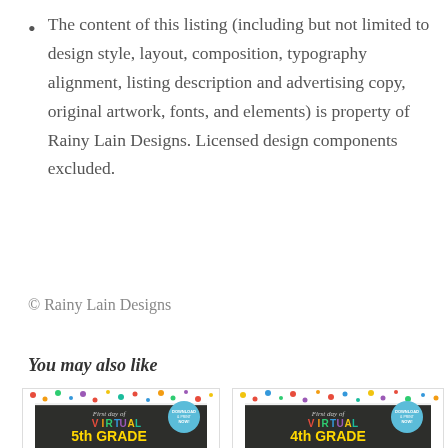The content of this listing (including but not limited to design style, layout, composition, typography alignment, listing description and advertising copy, original artwork, fonts, and elements) is property of Rainy Lain Designs. Licensed design components excluded.
© Rainy Lain Designs
You may also like
[Figure (photo): Product image: First day of Virtual 5th Grade chalkboard sign with colorful confetti border and Download & Print Now badge]
[Figure (photo): Product image: First day of Virtual 4th Grade chalkboard sign with colorful confetti border and Download & Print Now badge]